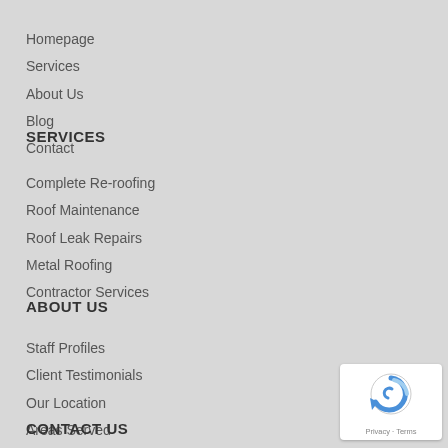Homepage
Services
About Us
Blog
Contact
SERVICES
Complete Re-roofing
Roof Maintenance
Roof Leak Repairs
Metal Roofing
Contractor Services
ABOUT US
Staff Profiles
Client Testimonials
Our Location
Areas Served
CONTACT US
[Figure (logo): Google reCAPTCHA badge with Privacy and Terms text]